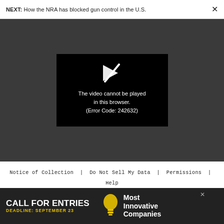NEXT: How the NRA has blocked gun control in the U.S.
[Figure (screenshot): Video player error screen on dark background showing a broken play icon and error message: 'The video cannot be played in this browser. (Error Code: 242632)']
Notice of Collection | Do Not Sell My Data | Permissions | Help Center | About Us | Site Map | Fast Company & Inc © 2022 Mansueto Ventures, LLC
[Figure (photo): Advertisement banner: CALL FOR ENTRIES DEADLINE: SEPTEMBER 23, Most Innovative Companies]